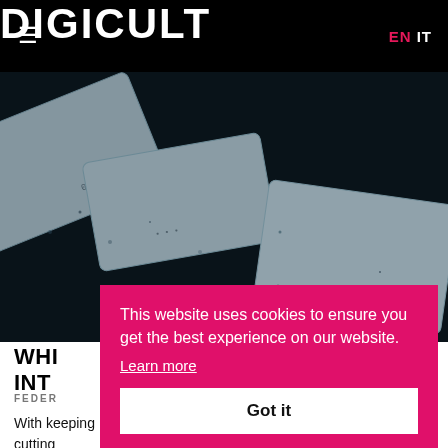DIGICULT | EN IT
[Figure (photo): Tilted granite-textured cards on a dark background with numbers visible]
WHI INT
FEDER
With keeping cutting structures. After his residency at INL he accepted to answer
This website uses cookies to ensure you get the best experience on our website. Learn more Got it